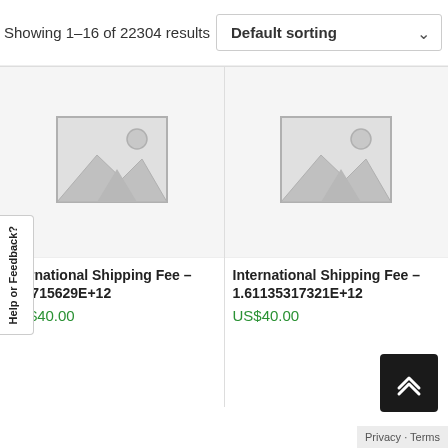Showing 1–16 of 22304 results
Default sorting
[Figure (other): Placeholder product image (mountain/landscape icon in grey)]
International Shipping Fee – 125715629E+12
US$40.00
[Figure (other): Placeholder product image (mountain/landscape icon in grey)]
International Shipping Fee – 1.61135317321E+12
US$40.00
Help or Feedback?
Privacy · Terms